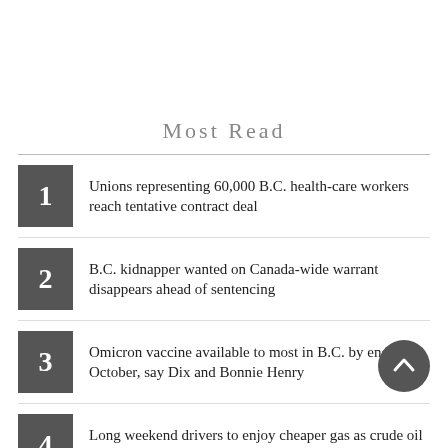Most Read
Unions representing 60,000 B.C. health-care workers reach tentative contract deal
B.C. kidnapper wanted on Canada-wide warrant disappears ahead of sentencing
Omicron vaccine available to most in B.C. by end of October, say Dix and Bonnie Henry
Long weekend drivers to enjoy cheaper gas as crude oil tumbles
'This will happen again': B.C. family pleas for action